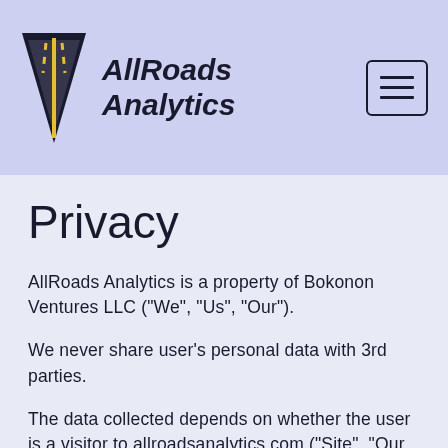AllRoads Analytics
Privacy
AllRoads Analytics is a property of Bokonon Ventures LLC ("We", "Us", "Our").
We never share user's personal data with 3rd parties.
The data collected depends on whether the user is a visitor to allroadsanalytics.com ("Site", "Our Site") or a user of a site which uses the AllRoads Analytics service. Both will be covered, in separate sections, below.